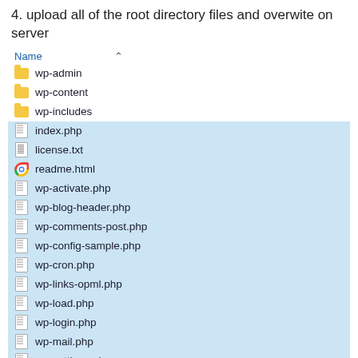4. upload all of the root directory files and overwite on server
[Figure (screenshot): File browser screenshot showing WordPress root directory files selected, with folders wp-admin, wp-content, wp-includes and files index.php, license.txt, readme.html, wp-activate.php, wp-blog-header.php, wp-comments-post.php, wp-config-sample.php, wp-cron.php, wp-links-opml.php, wp-load.php, wp-login.php, wp-mail.php, wp-settings.php, wp-signup.php, wp-trackback.php. Most files are highlighted in blue indicating selection.]